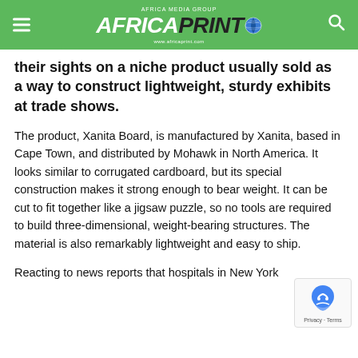AFRICA PRINTO
their sights on a niche product usually sold as a way to construct lightweight, sturdy exhibits at trade shows.
The product, Xanita Board, is manufactured by Xanita, based in Cape Town, and distributed by Mohawk in North America. It looks similar to corrugated cardboard, but its special construction makes it strong enough to bear weight. It can be cut to fit together like a jigsaw puzzle, so no tools are required to build three-dimensional, weight-bearing structures. The material is also remarkably lightweight and easy to ship.
Reacting to news reports that hospitals in New York